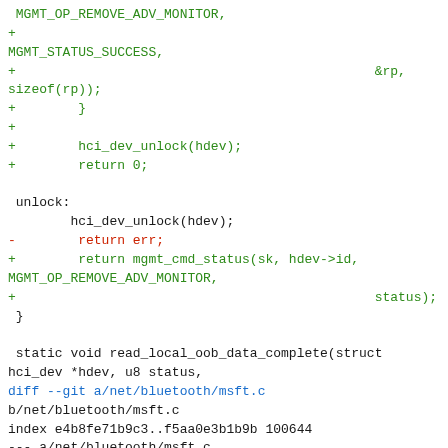Code diff showing MGMT_OP_REMOVE_ADV_MONITOR, MGMT_STATUS_SUCCESS, &rp, sizeof(rp)), hci_dev_unlock, return 0, unlock label, hci_dev_unlock, return mgmt_cmd_status, static void read_local_oob_data_complete, diff --git a/net/bluetooth/msft.c b/net/bluetooth/msft.c, index e4b8fe71b9c3..f5aa0e3b1b9b 100644644, @@ -58,6 +58,17 @@ struct msft_rp_le_monitor_advertisement { __u8 handle; } __packed;